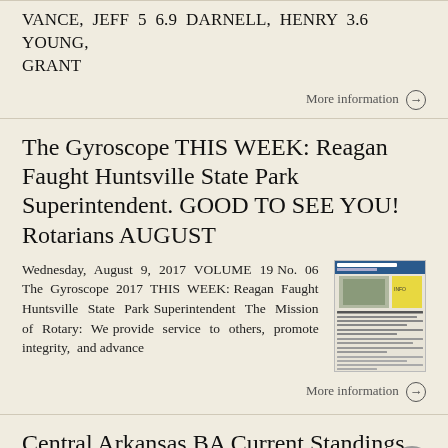VANCE, JEFF 5 6.9 DARNELL, HENRY 3.6 YOUNG, GRANT
More information →
The Gyroscope THIS WEEK: Reagan Faught Huntsville State Park Superintendent. GOOD TO SEE YOU! Rotarians AUGUST
Wednesday, August 9, 2017 VOLUME 19 No. 06 The Gyroscope 2017 THIS WEEK: Reagan Faught Huntsville State Park Superintendent The Mission of Rotary: We provide service to others, promote integrity, and advance
More information →
Central Arkansas BA Current Standings 76th Central Arkansas USPCRA Open